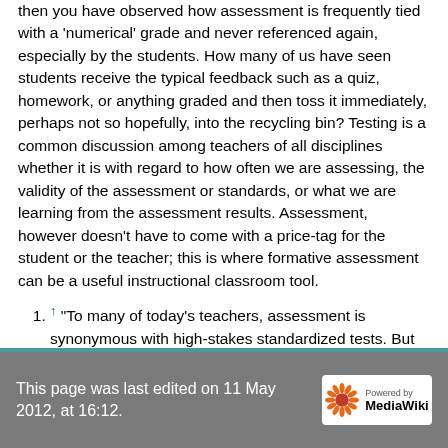then you have observed how assessment is frequently tied with a 'numerical' grade and never referenced again, especially by the students. How many of us have seen students receive the typical feedback such as a quiz, homework, or anything graded and then toss it immediately, perhaps not so hopefully, into the recycling bin? Testing is a common discussion among teachers of all disciplines whether it is with regard to how often we are assessing, the validity of the assessment or standards, or what we are learning from the assessment results. Assessment, however doesn't have to come with a price-tag for the student or the teacher; this is where formative assessment can be a useful instructional classroom tool.
↑ "To many of today's teachers, assessment is synonymous with high-stakes standardized tests. But there is an entirely different kind of assessment that can actually transform both teaching and learning."
This page was last edited on 11 May 2012, at 16:12.